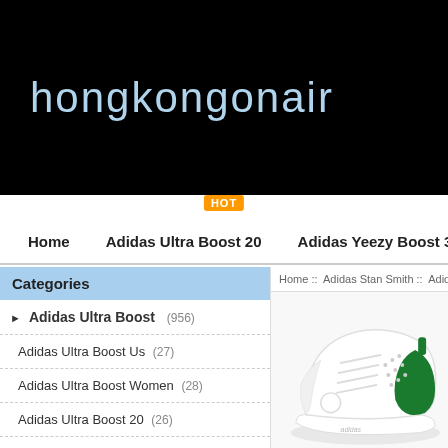hongkongonair
HOT
Home   Adidas Ultra Boost 20   Adidas Yeezy Boost 350
Categories
Home :: Adidas Stan Smith :: Adidas Stan
Adidas Ultra Boost (956)
Adidas Ultra Boost Us (27)
Adidas Ultra Boost Women (28)
Adidas Ultra Boost 20 (26)
Adidas Ultraboost 20 (25)
Adidas Originals Ultra Boost Shoes (28)
Adidas Ultra Boost 21 (16)
Adidas Ultra Boost Mens (27)
[Figure (photo): Adidas Stan Smith white sneaker with green heel tab, shown from side angle]